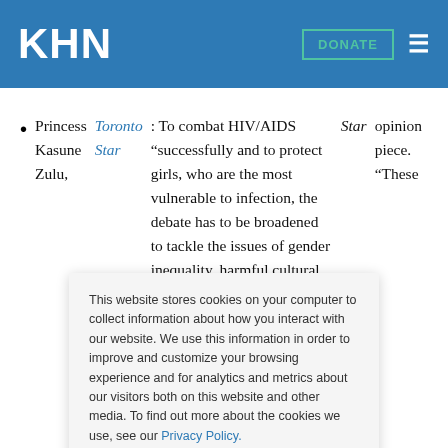KHN
Princess Kasune Zulu, Toronto Star: To combat HIV/AIDS "successfully and to protect girls, who are the most vulnerable to infection, the debate has to be broadened to tackle the issues of gender inequality, harmful cultural practice, bad inheritance laws, discrimination and sexual violence," HIV/AIDS advocate Zulu writes in a Star opinion piece. "These
This website stores cookies on your computer to collect information about how you interact with our website. We use this information in order to improve and customize your browsing experience and for analytics and metrics about our visitors both on this website and other media. To find out more about the cookies we use, see our Privacy Policy.
Accept